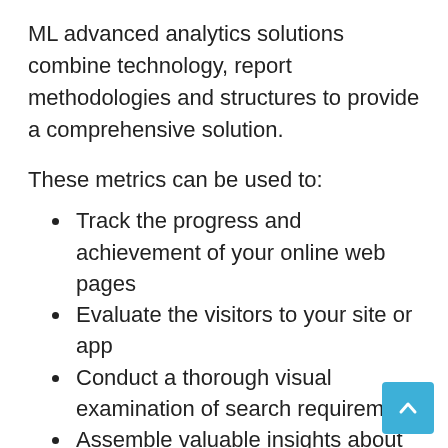ML advanced analytics solutions combine technology, report methodologies and structures to provide a comprehensive solution.
These metrics can be used to:
Track the progress and achievement of your online web pages
Evaluate the visitors to your site or app
Conduct a thorough visual examination of search requirements
Assemble valuable insights about your viewers
Create customer profile based on user action
Marketers can also use machine learning techniques like clustering algorithms to group a